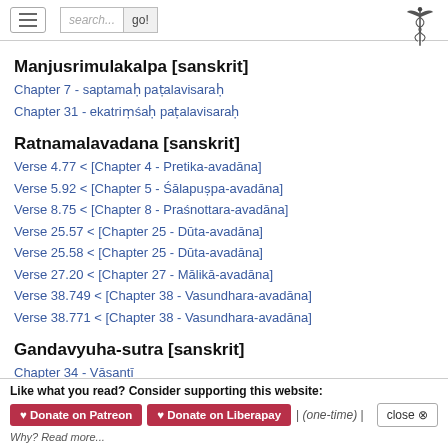Navigation bar with hamburger menu, search box, go button, and caduceus logo
Manjusrimulakalpa [sanskrit]
Chapter 7 - saptamaḥ paṭalavisaraḥ
Chapter 31 - ekatriṃśaḥ paṭalavisaraḥ
Ratnamalavadana [sanskrit]
Verse 4.77 < [Chapter 4 - Pretika-avadāna]
Verse 5.92 < [Chapter 5 - Śālapuṣpa-avadāna]
Verse 8.75 < [Chapter 8 - Praśnottara-avadāna]
Verse 25.57 < [Chapter 25 - Dūta-avadāna]
Verse 25.58 < [Chapter 25 - Dūta-avadāna]
Verse 27.20 < [Chapter 27 - Mālikā-avadāna]
Verse 38.749 < [Chapter 38 - Vasundhara-avadāna]
Verse 38.771 < [Chapter 38 - Vasundhara-avadāna]
Gandavyuha-sutra [sanskrit]
Chapter 34 - Vāsantī
Chapter 43 - Gopā
Like what you read? Consider supporting this website:
♥ Donate on Patreon  ♥ Donate on Liberapay  |  (one-time)  |  close ⊗
Why? Read more...